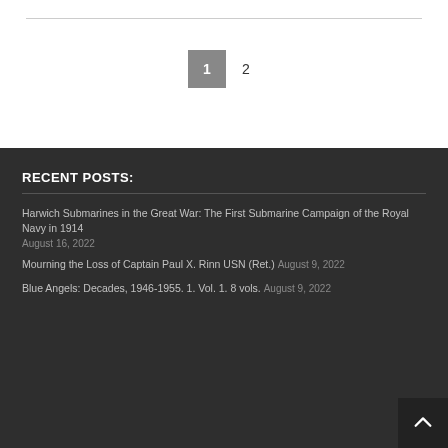1  2
RECENT POSTS:
Harwich Submarines in the Great War: The First Submarine Campaign of the Royal Navy in 1914
August 16, 2022
Mourning the Loss of Captain Paul X. Rinn USN (Ret.)  August 9, 2022
Blue Angels: Decades, 1946-1955. 1. Vol. 1. 8 vols.  August 9, 2022